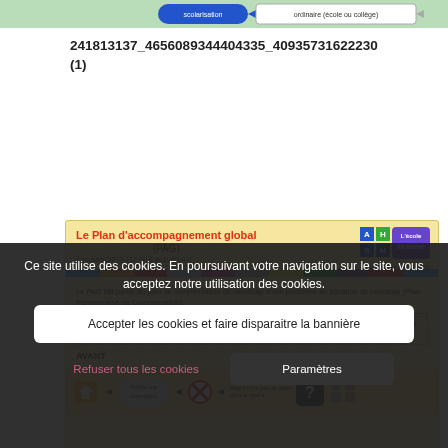[Figure (infographic): Top flowchart bar showing scolarisation and ordinaire (école ou collège) steps in a process flow diagram]
241813137_4656089344404335_40935731622230
(1)
[Figure (infographic): Le Plan d'accompagnement global (PAG) infographic. Circulaire 2016-117 du 8 août 2016-2. Shows PAG as part of compensation plan for disabled persons, with AVANT section showing CDAPH orientation process with icons.]
Ce site utilise des cookies. En poursuivant votre navigation sur le site, vous acceptez notre utilisation des cookies.
Accepter les cookies et faire disparaitre la bannière
Refuser tous les cookies
Paramètres